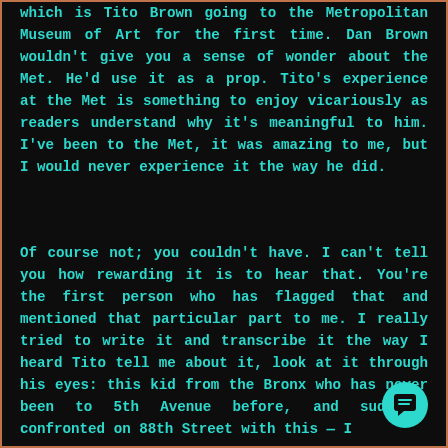which is Tito Brown going to the Metropolitan Museum of Art for the first time. Dan Brown wouldn't give you a sense of wonder about the Met. He'd use it as a prop. Tito's experience at the Met is something to enjoy vicariously as readers understand why it's meaningful to him. I've been to the Met, it was amazing to me, but I would never experience it the way he did.
Of course not; you couldn't have. I can't tell you how rewarding it is to hear that. You're the first person who has flagged that and mentioned that particular part to me. I really tried to write it and transcribe it the way I heard Tito tell me about it, look at it through his eyes: this kid from the Bronx who has never been to 5th Avenue before, and suddenly confronted on 88th Street with this — I